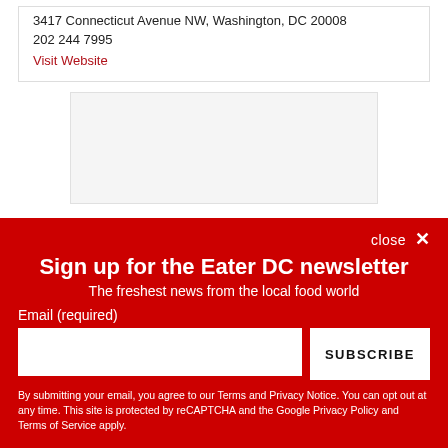3417 Connecticut Avenue NW, Washington, DC 20008
202 244 7995
Visit Website
[Figure (other): Advertisement placeholder box]
close ×
Sign up for the Eater DC newsletter
The freshest news from the local food world
Email (required)
SUBSCRIBE
By submitting your email, you agree to our Terms and Privacy Notice. You can opt out at any time. This site is protected by reCAPTCHA and the Google Privacy Policy and Terms of Service apply.